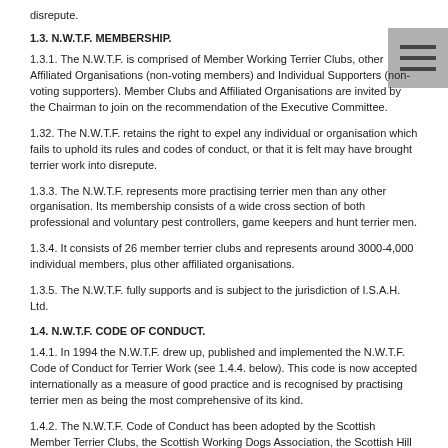disrepute.
1.3. N.W.T.F. MEMBERSHIP.
1.3.1. The N.W.T.F. is comprised of Member Working Terrier Clubs, other Affiliated Organisations (non-voting members) and Individual Supporters (non-voting supporters). Member Clubs and Affiliated Organisations are invited by the Chairman to join on the recommendation of the Executive Committee.
1.32. The N.W.T.F. retains the right to expel any individual or organisation which fails to uphold its rules and codes of conduct, or that it is felt may have brought terrier work into disrepute.
1.3.3. The N.W.T.F. represents more practising terrier men than any other organisation. Its membership consists of a wide cross section of both professional and voluntary pest controllers, game keepers and hunt terrier men.
1.3.4. It consists of 26 member terrier clubs and represents around 3000-4,000 individual members, plus other affiliated organisations.
1.3.5. The N.W.T.F. fully supports and is subject to the jurisdiction of I.S.A.H. Ltd.
1.4. N.W.T.F. CODE OF CONDUCT.
1.4.1. In 1994 the N.W.T.F. drew up, published and implemented the N.W.T.F. Code of Conduct for Terrier Work (see 1.4.4. below). This code is now accepted internationally as a measure of good practice and is recognised by practising terrier men as being the most comprehensive of its kind.
1.4.2. The N.W.T.F. Code of Conduct has been adopted by the Scottish Member Terrier Clubs, the Scottish Working Dogs Association, the Scottish Hill Packs Association, the the Federation of Welsh Packs, the English Farmers Fox Destruction Society, the Central Committee of Fell Packs